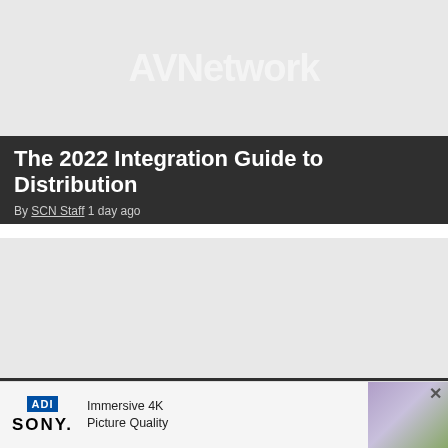[Figure (logo): AVNetwork watermark logo on light gray background]
The 2022 Integration Guide to Distribution
By SCN Staff 1 day ago
[Figure (photo): Light gray placeholder image for second article]
Here's Why 'Family Feud' and 'Judge Steve Harvey' Rely on RF Venue
[Figure (screenshot): ADI Sony advertisement banner: Immersive 4K Picture Quality]